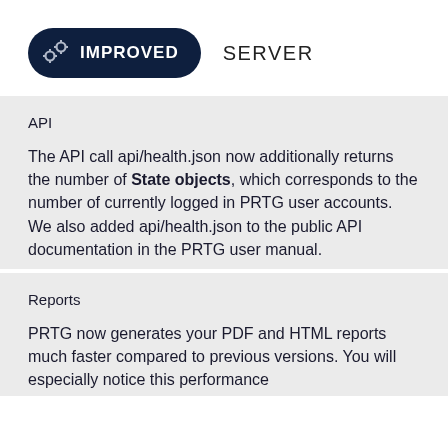IMPROVED   SERVER
API
The API call api/health.json now additionally returns the number of State objects, which corresponds to the number of currently logged in PRTG user accounts. We also added api/health.json to the public API documentation in the PRTG user manual.
Reports
PRTG now generates your PDF and HTML reports much faster compared to previous versions. You will especially notice this performance